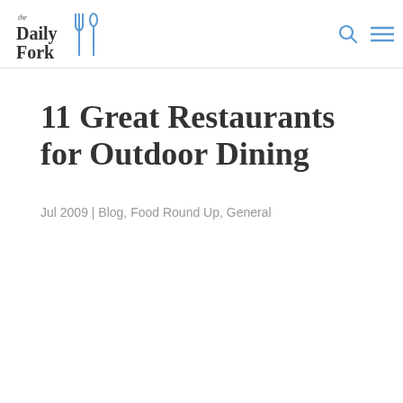The Daily Fork
11 Great Restaurants for Outdoor Dining
Jul 2009 | Blog, Food Round Up, General